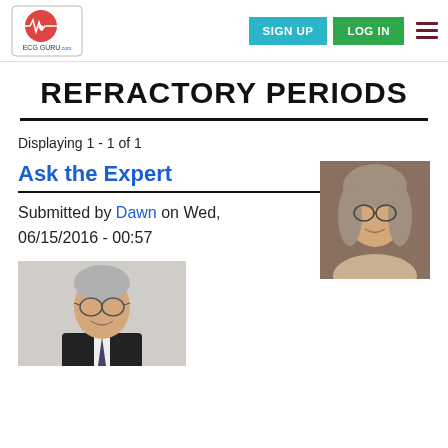ECG GURU | SIGN UP | LOG IN
REFRACTORY PERIODS
Displaying 1 - 1 of 1
Ask the Expert
[Figure (photo): Portrait photo of a woman with glasses and light hair]
Submitted by Dawn on Wed, 06/15/2016 - 00:57
[Figure (photo): Portrait photo of an older man with glasses and grey hair wearing a suit]